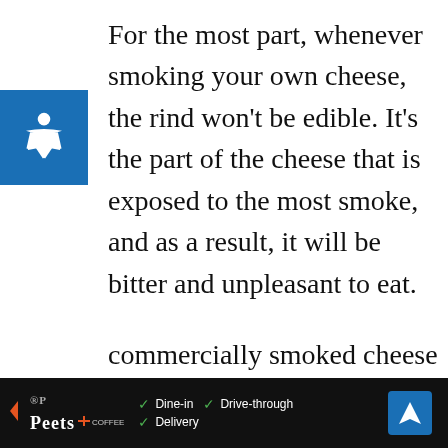For the most part, whenever smoking your own cheese, the rind won't be edible. It's the part of the cheese that is exposed to the most smoke, and as a result, it will be bitter and unpleasant to eat.
However, if you're buying commercially smoked cheese, the rind may be edible depending on how the cheese was smoked. Most commercially smoked cheese are...